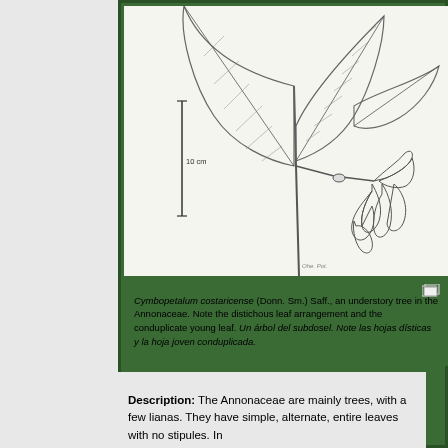[Figure (illustration): Botanical illustration of Cymbopetalum costaricense showing distichous leaf arrangement with large elongated leaves, a conduplicate young leaf, and fruits/flower structures at the branch node. A scale bar labeled '10 cm' is shown on the left side of the illustration.]
Cymbopetalum costaricense (Donn. Sm.) Saff., an understory tree in the Annonaceae. Note the distichous leaf arrangement and the conduplicate young leaf. Un árbol del subdosel. Note las hojas dísticas y la hoja joven conduplicada.
Description: The Annonaceae are mainly trees, with a few lianas. They have simple, alternate, entire leaves with no stipules. In